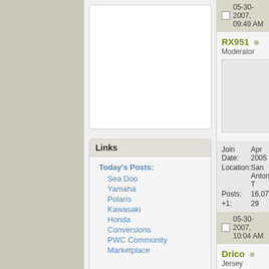Links
Today's Posts:
Sea Doo
Yamaha
Polaris
Kawasaki
Honda
Conversions
PWC Community
Marketplace
Google Site Search
05-30-2007, 09:49 AM
RX951
Moderator
| Join Date: | Apr 2005 |
| Location: | San Antonio, T |
| Posts: | 16,075 |
| +1: | 29 |
05-30-2007, 10:04 AM
Drico
Jersey GPR'N